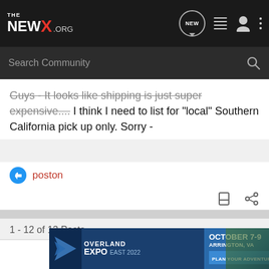THE NEWX.ORG
Guys - It looks like shipping is just super expensive....I think I need to list for "local" Southern California pick up only. Sorry -
poston
1 - 12 of 12 Posts
Join the discussion
Continue with Facebook